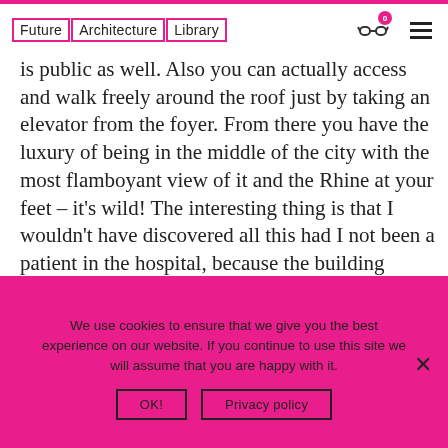Future Architecture Library
is public as well. Also you can actually access and walk freely around the roof just by taking an elevator from the foyer. From there you have the luxury of being in the middle of the city with the most flamboyant view of it and the Rhine at your feet – it's wild! The interesting thing is that I wouldn't have discovered all this had I not been a patient in the hospital, because the building doesn't outwardly tell you about it. It's a peculiar situation because on the other side of the street
We use cookies to ensure that we give you the best experience on our website. If you continue to use this site we will assume that you are happy with it.
OK!
Privacy policy